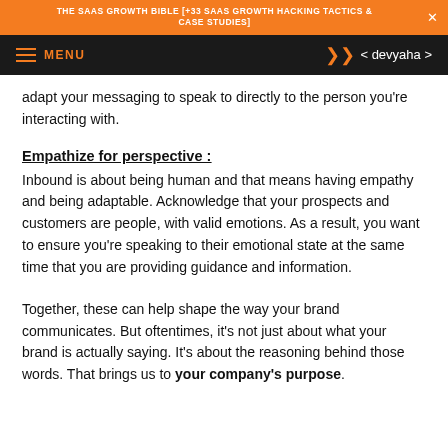THE SAAS GROWTH BIBLE [+33 SAAS GROWTH HACKING TACTICS & CASE STUDIES]
MENU   < devyaha >
adapt your messaging to speak to directly to the person you're interacting with.
Empathize for perspective :
Inbound is about being human and that means having empathy and being adaptable. Acknowledge that your prospects and customers are people, with valid emotions. As a result, you want to ensure you're speaking to their emotional state at the same time that you are providing guidance and information.
Together, these can help shape the way your brand communicates. But oftentimes, it's not just about what your brand is actually saying. It's about the reasoning behind those words. That brings us to your company's purpose.